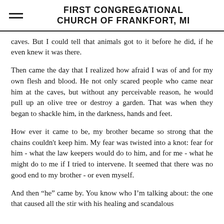FIRST CONGREGATIONAL CHURCH OF FRANKFORT, MI
caves. But I could tell that animals got to it before he did, if he even knew it was there.
Then came the day that I realized how afraid I was of and for my own flesh and blood. He not only scared people who came near him at the caves, but without any perceivable reason, he would pull up an olive tree or destroy a garden. That was when they began to shackle him, in the darkness, hands and feet.
How ever it came to be, my brother became so strong that the chains couldn’t keep him. My fear was twisted into a knot: fear for him - what the law keepers would do to him, and for me - what he might do to me if I tried to intervene. It seemed that there was no good end to my brother - or even myself.
And then “he” came by. You know who I’m talking about: the one that caused all the stir with his healing and scandalous